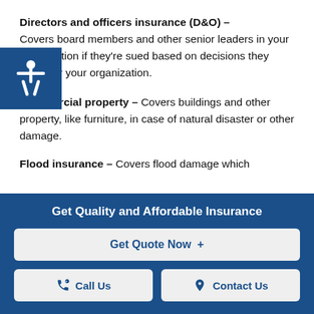Directors and officers insurance (D&O) – Covers board members and other senior leaders in your organization if they're sued based on decisions they made for your organization.
Commercial property – Covers buildings and other property, like furniture, in case of natural disaster or other damage.
Flood insurance – Covers flood damage which
Get Quality and Affordable Insurance
Get Quote Now  +
Call Us
Contact Us